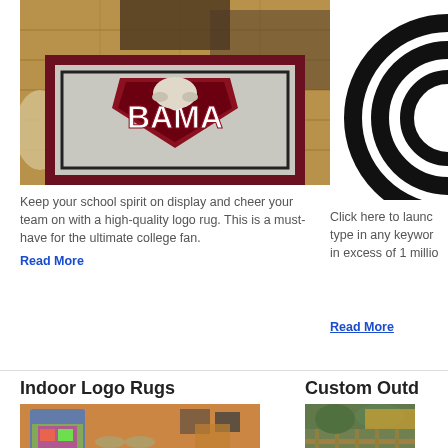[Figure (photo): BAMA logo rug photo in a room with hardwood floors and a chair]
Keep your school spirit on display and cheer your team on with a high-quality logo rug. This is a must-have for the ultimate college fan.
Read More
[Figure (photo): Partial circular logo graphic, black concentric arcs on white]
Click here to launch type in any keywor in excess of 1 millio
Read More
Indoor Logo Rugs
[Figure (photo): Indoor room scene with arcade game machine and bar stools]
Custom Outd
[Figure (photo): Outdoor scene with wood deck railing]